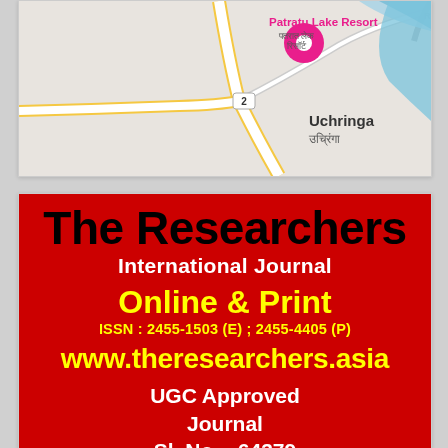[Figure (map): Google Maps screenshot showing Patratu Lake Resort location near Uchringa. Pink location pin marker visible. Road number 2 shown. Text in both English and Hindi (Devanagari script). Blue water area visible on right side.]
[Figure (logo): Red background journal advertisement for 'The Researchers International Journal'. Shows Online & Print availability, ISSN: 2455-1503 (E); 2455-4405 (P), website www.theresearchers.asia, UGC Approved Journal Sl. No. - 64379]